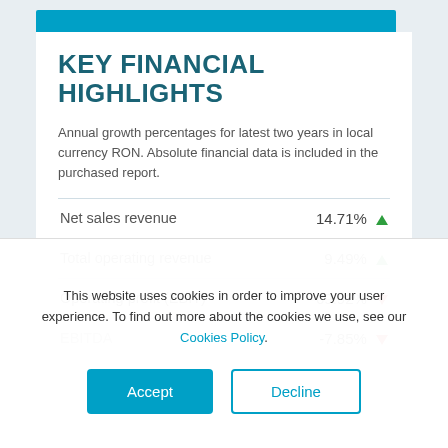KEY FINANCIAL HIGHLIGHTS
Annual growth percentages for latest two years in local currency RON. Absolute financial data is included in the purchased report.
| Metric | Value |
| --- | --- |
| Net sales revenue | 14.71% ▲ |
| Total operating revenue | 9.49% ▲ |
| Operating profit (EBIT) | -69.92% ▼ |
| EBITDA | -7.85% ▼ |
This website uses cookies in order to improve your user experience. To find out more about the cookies we use, see our Cookies Policy.